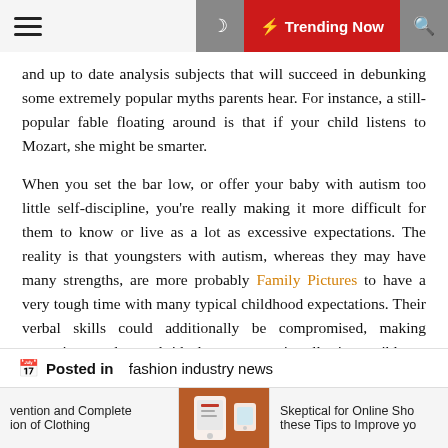☰ 🌙 ⚡ Trending Now 🔍
and up to date analysis subjects that will succeed in debunking some extremely popular myths parents hear. For instance, a still-popular fable floating around is that if your child listens to Mozart, she might be smarter.
When you set the bar low, or offer your baby with autism too little self-discipline, you're really making it more difficult for them to know or live as a lot as excessive expectations. The reality is that youngsters with autism, whereas they may have many strengths, are more probably Family Pictures to have a very tough time with many typical childhood expectations. Their verbal skills could additionally be compromised, making excessive grades and ideal grammar virtually impossible to attain. They may have problem with physical coordination, making athletics particularly powerful.
📅  Posted in  fashion industry news
vention and Complete ion of Clothing | [image] | Skeptical for Online Sho these Tips to Improve yo